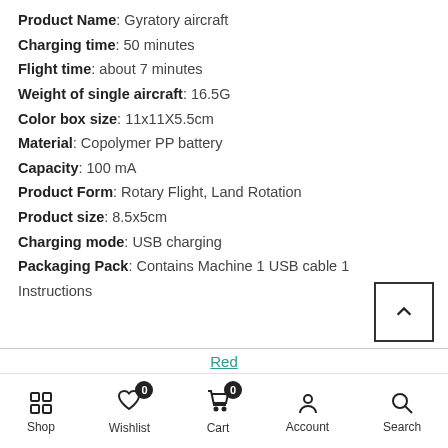Product Name: Gyratory aircraft
Charging time: 50 minutes
Flight time: about 7 minutes
Weight of single aircraft: 16.5G
Color box size: 11x11X5.5cm
Material: Copolymer PP battery
Capacity: 100 mA
Product Form: Rotary Flight, Land Rotation
Product size: 8.5x5cm
Charging mode: USB charging
Packaging Pack: Contains Machine 1 USB cable 1 Instructions
Red
- 1 +
ADD TO CART
Shop | Wishlist 0 | Cart 0 | Account | Search